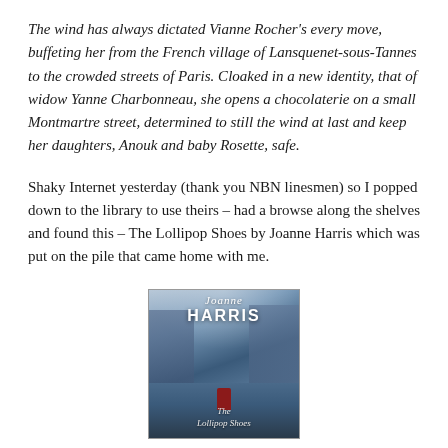The wind has always dictated Vianne Rocher's every move, buffeting her from the French village of Lansquenet-sous-Tannes to the crowded streets of Paris. Cloaked in a new identity, that of widow Yanne Charbonneau, she opens a chocolaterie on a small Montmartre street, determined to still the wind at last and keep her daughters, Anouk and baby Rosette, safe.
Shaky Internet yesterday (thank you NBN linesmen) so I popped down to the library to use theirs – had a browse along the shelves and found this – The Lollipop Shoes by Joanne Harris which was put on the pile that came home with me.
[Figure (photo): Book cover of 'The Lollipop Shoes' by Joanne Harris. Blue-toned wintry street scene with a small figure in red in the middle of the street. Author name 'Joanne HARRIS' displayed prominently at top, title 'The Lollipop Shoes' at the bottom.]